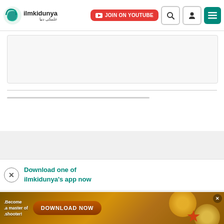[Figure (screenshot): ilmkidunya website navigation bar with logo, JOIN ON YOUTUBE button (red), search icon, user icon, and menu icon (teal)]
[Figure (screenshot): White content box area with divider lines below navigation]
Download one of ilmkidunya's app now
[Figure (screenshot): Advertisement banner: Become a master of shooter! with DOWNLOAD NOW button]